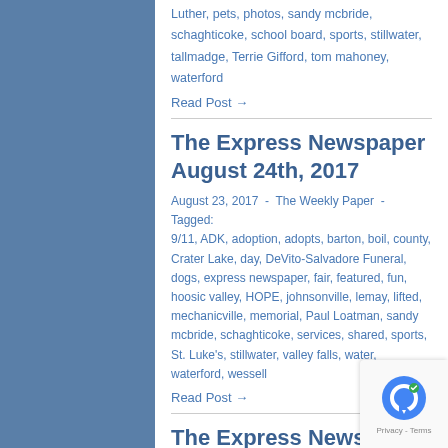Luther, pets, photos, sandy mcbride, schaghticoke, school board, sports, stillwater, tallmadge, Terrie Gifford, tom mahoney, waterford
Read Post →
The Express Newspaper August 24th, 2017
August 23, 2017  -  The Weekly Paper  -  Tagged: 9/11, ADK, adoption, adopts, barton, boil, county, Crater Lake, day, DeVito-Salvadore Funeral, dogs, express newspaper, fair, featured, fun, hoosic valley, HOPE, johnsonville, lemay, lifted, mechanicville, memorial, Paul Loatman, sandy mcbride, schaghticoke, services, shared, sports, St. Luke's, stillwater, valley falls, water, waterford, wessell
Read Post →
The Express Newspaper –